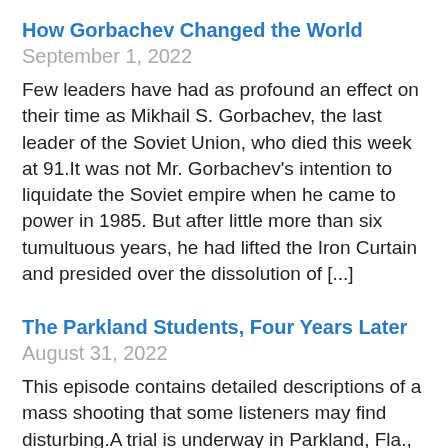How Gorbachev Changed the World September 1, 2022
Few leaders have had as profound an effect on their time as Mikhail S. Gorbachev, the last leader of the Soviet Union, who died this week at 91.It was not Mr. Gorbachev's intention to liquidate the Soviet empire when he came to power in 1985. But after little more than six tumultuous years, he had lifted the Iron Curtain and presided over the dissolution of [...]
The Parkland Students, Four Years Later August 31, 2022
This episode contains detailed descriptions of a mass shooting that some listeners may find disturbing.A trial is underway in Parkland, Fla., to determine the fate of the gunman who killed 17 people at Marjory Stoneman Douglas High School in 2018.The trial is expected to last for more than four days and...